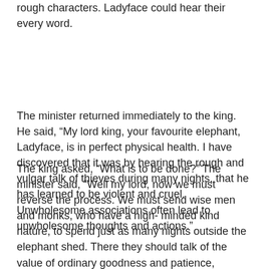rough characters. Ladyface could hear their every word.
The minister returned immediately to the king. He said, “My lord king, your favourite elephant, Ladyface, is in perfect physical health. I have discovered that it was by hearing the rough and vulgar talk of thieves during many nights, that he has learned to be violent and cruel. Unwholesome associations often lead to unwholesome thoughts and actions.”
The king asked, “What is to be done?” The minister said, “Well my lord, now we must reverse the process. We must send wise men and monks, who have a high-minded kind nature, to spend just as many nights outside the elephant shed. There they should talk of the value of ordinary goodness and patience, leading to compassion, loving-kindness and harmlessness.”